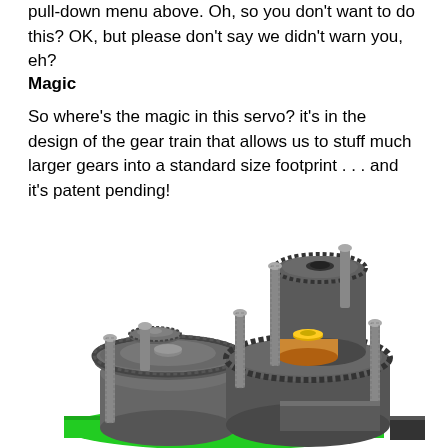pull-down menu above. Oh, so you don't want to do this? OK, but please don't say we didn't warn you, eh?
Magic
So where's the magic in this servo? it's in the design of the gear train that allows us to stuff much larger gears into a standard size footprint . . . and it's patent pending!
[Figure (engineering-diagram): 3D CAD rendering of a servo gear train assembly showing multiple interlocking spur gears of various sizes (gray/dark), bronze/orange bearing rings, threaded bolts/standoffs, mounted on a green base plate. The gear train includes a large ring gear, planet gears, and a central output shaft assembly.]